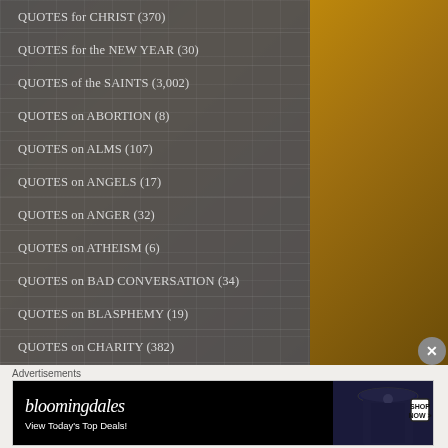QUOTES for CHRIST (370)
QUOTES for the NEW YEAR (30)
QUOTES of the SAINTS (3,002)
QUOTES on ABORTION (8)
QUOTES on ALMS (107)
QUOTES on ANGELS (17)
QUOTES on ANGER (32)
QUOTES on ATHEISM (6)
QUOTES on BAD CONVERSATION (34)
QUOTES on BLASPHEMY (19)
QUOTES on CHARITY (382)
[Figure (screenshot): Bloomingdale's advertisement banner: 'View Today's Top Deals!' with SHOP NOW button]
Advertisements